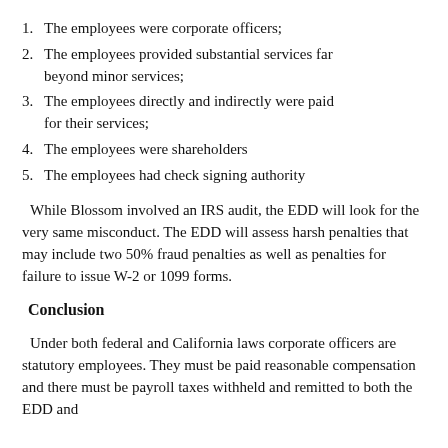1. The employees were corporate officers;
2. The employees provided substantial services far beyond minor services;
3. The employees directly and indirectly were paid for their services;
4. The employees were shareholders
5. The employees had check signing authority
While Blossom involved an IRS audit, the EDD will look for the very same misconduct. The EDD will assess harsh penalties that may include two 50% fraud penalties as well as penalties for failure to issue W-2 or 1099 forms.
Conclusion
Under both federal and California laws corporate officers are statutory employees. They must be paid reasonable compensation and there must be payroll taxes withheld and remitted to both the EDD and